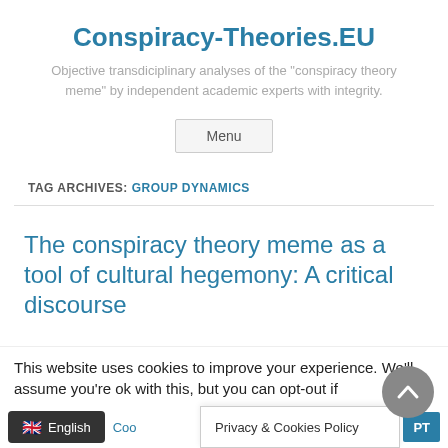Conspiracy-Theories.EU
Objective transdiciplinary analyses of the "conspiracy theory meme" by independent academic experts with integrity.
Menu
TAG ARCHIVES: GROUP DYNAMICS
The conspiracy theory meme as a tool of cultural hegemony: A critical discourse
This website uses cookies to improve your experience. We'll assume you're ok with this, but you can opt-out if
English
Privacy & Cookies Policy